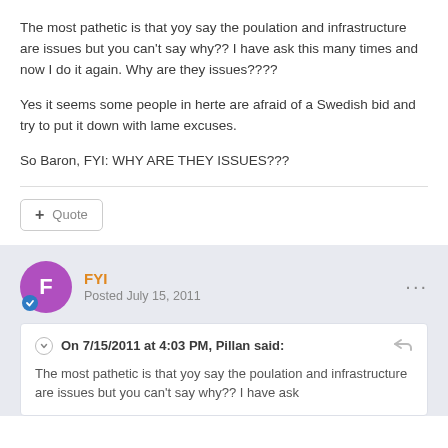The most pathetic is that yoy say the poulation and infrastructure are issues but you can't say why?? I have ask this many times and now I do it again. Why are they issues????
Yes it seems some people in herte are afraid of a Swedish bid and try to put it down with lame excuses.
So Baron, FYI: WHY ARE THEY ISSUES???
FYI
Posted July 15, 2011
On 7/15/2011 at 4:03 PM, Pillan said:
The most pathetic is that yoy say the poulation and infrastructure are issues but you can't say why?? I have ask